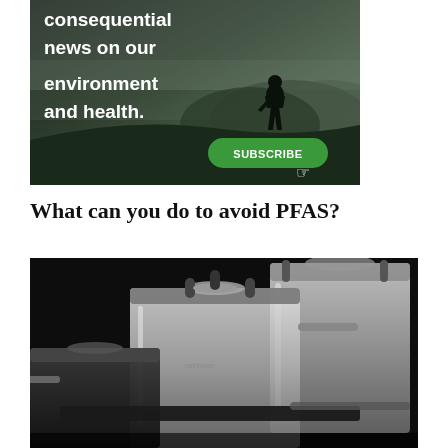[Figure (illustration): Advertisement banner with dark background showing silhouette of person on hillside with mountains and trees. Text reads 'consequential news on our environment and health.' with a green SUBSCRIBE button.]
What can you do to avoid PFAS?
[Figure (photo): Close-up photo of stainless steel cookware pots and pans against a dark background.]